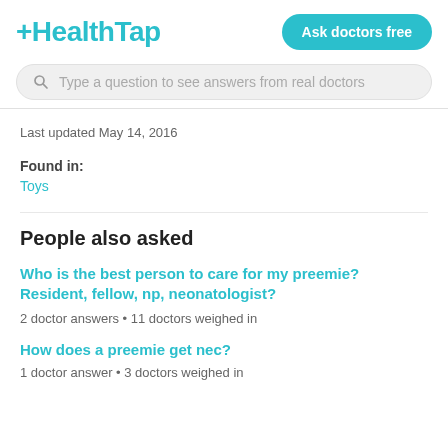+HealthTap | Ask doctors free
Type a question to see answers from real doctors
Last updated May 14, 2016
Found in:
Toys
People also asked
Who is the best person to care for my preemie? Resident, fellow, np, neonatologist?
2 doctor answers • 11 doctors weighed in
How does a preemie get nec?
1 doctor answer • 3 doctors weighed in